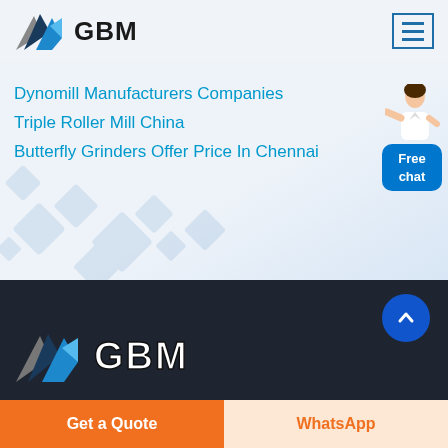[Figure (logo): GBM logo with blue mountain/arrow graphic and bold GBM text]
Dynomill Manufacturers Companies
Triple Roller Mill China
Butterfly Grinders Offer Price In Chennai
[Figure (photo): Customer service person (woman) with Free chat button]
[Figure (logo): GBM logo large in footer dark section]
Get a Quote
WhatsApp